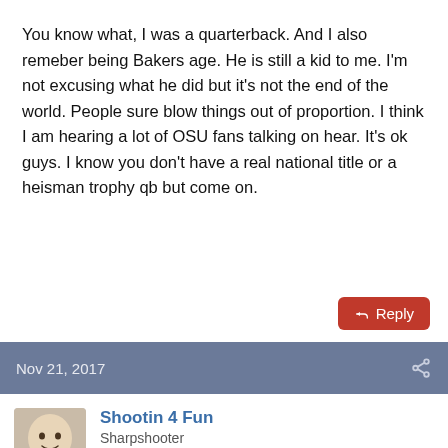You know what, I was a quarterback. And I also remeber being Bakers age. He is still a kid to me. I’m not excusing what he did but it's not the end of the world. People sure blow things out of proportion. I think I am hearing a lot of OSU fans talking on hear. It's ok guys. I know you don't have a real national title or a heisman trophy qb but come on.
Nov 21, 2017
Shootin 4 Fun
Sharpshooter
[Figure (other): User badges: blue badge with stars and sheriff badge, brown badge with blocks and bird/thumbs up icon; expand and vote buttons]
Poor sportsmanship should not be condoned at any level.